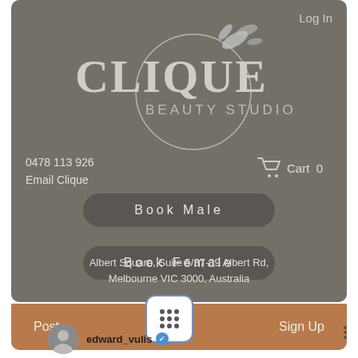[Figure (logo): Clique Beauty Studio logo with circular design and floral element on grey background]
Log In
0478 113 926
Email Clique
Cart  0
Book Male
Book Female
Albert Square, Suite 5/37-39 Albert Rd,
Melbourne VIC 3000, Australia
Post
Sign Up
edward_vulis